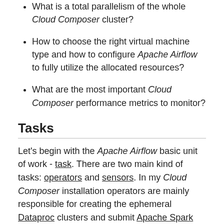What is a total parallelism of the whole Cloud Composer cluster?
How to choose the right virtual machine type and how to configure Apache Airflow to fully utilize the allocated resources?
What are the most important Cloud Composer performance metrics to monitor?
Tasks
Let's begin with the Apache Airflow basic unit of work - task. There are two main kind of tasks: operators and sensors. In my Cloud Composer installation operators are mainly responsible for creating the ephemeral Dataproc clusters and submit Apache Spark batch jobs to this clusters. In contrast, the sensors wait for BigQuery data, the payload for the Spark jobs. From the performance perspective, the operators are much more resource heavy